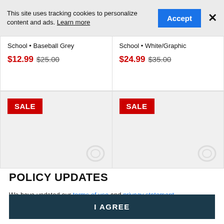This site uses tracking cookies to personalize content and ads. Learn more
School • Baseball Grey
$12.99  $25.00
School • White/Graphic
$24.99  $35.00
[Figure (other): Product card with SALE badge, grey background, faded logo watermark]
[Figure (other): Product card with SALE badge, grey background, faded logo watermark]
POLICY UPDATES
We have updated our terms of use and privacy statement. By continuing to use this site, you agree to these policies.
I AGREE